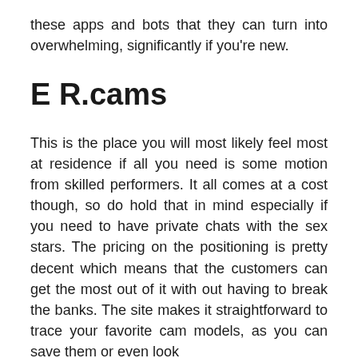these apps and bots that they can turn into overwhelming, significantly if you're new.
E R.cams
This is the place you will most likely feel most at residence if all you need is some motion from skilled performers. It all comes at a cost though, so do hold that in mind especially if you need to have private chats with the sex stars. The pricing on the positioning is pretty decent which means that the customers can get the most out of it with out having to break the banks. The site makes it straightforward to trace your favorite cam models, as you can save them or even look